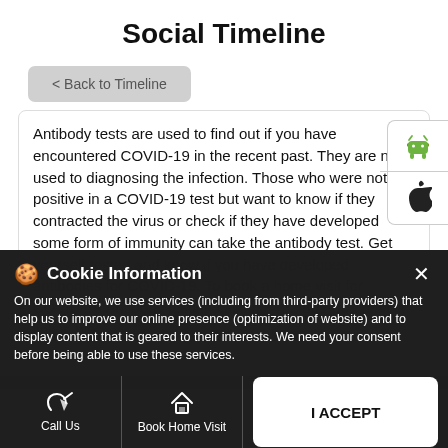Social Timeline
< Back to Timeline
Antibody tests are used to find out if you have encountered COVID-19 in the recent past. They are not used to diagnosing the infection. Those who were not used to diagnosing the infection. Those who were not positive in a COVID-19 test but want to know if they contracted the virus or check if they have developed some form of immunity can take the antibody test. Get yourself tested and know if you have developed antibodies for COVID-19. To book a home visit for COVID-19 Antibody testing call on 8422-801-801 or visit link in bio.
Cookie Information
On our website, we use services (including from third-party providers) that help us to improve our online presence (optimization of website) and to display content that is geared to their interests. We need your consent before being able to use these services.
Call Us
Book Home Visit
Directions
I ACCEPT